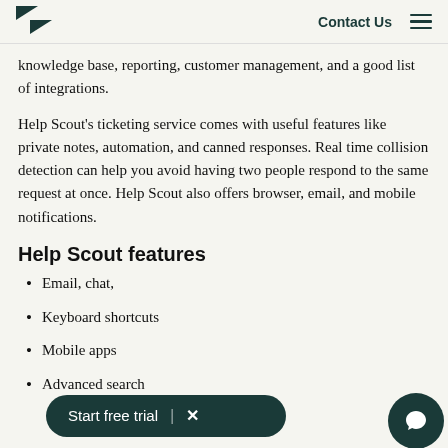Zendesk logo | Contact Us | Menu
knowledge base, reporting, customer management, and a good list of integrations.
Help Scout's ticketing service comes with useful features like private notes, automation, and canned responses. Real time collision detection can help you avoid having two people respond to the same request at once. Help Scout also offers browser, email, and mobile notifications.
Help Scout features
Email, chat,
Keyboard shortcuts
Mobile apps
Advanced search